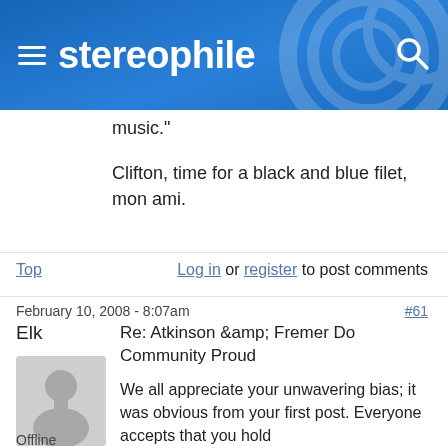stereophile
music."
Clifton, time for a black and blue filet, mon ami.
Top   Log in or register to post comments
February 10, 2008 - 8:07am   #61
Elk
[Figure (illustration): Generic user avatar silhouette in gray]
Offline
Re: Atkinson &amp; Fremer Do Community Proud
We all appreciate your unwavering bias; it was obvious from your first post. Everyone accepts that you hold